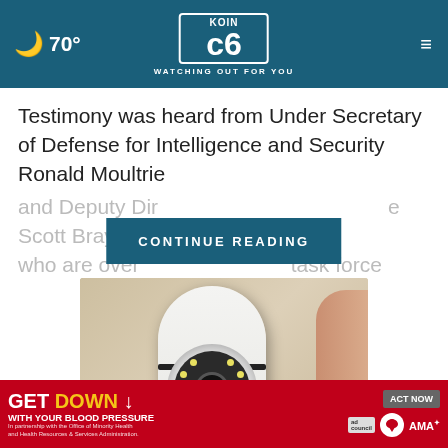KOIN 6 — WATCHING OUT FOR YOU — 70°
Testimony was heard from Under Secretary of Defense for Intelligence and Security Ronald Moultrie and Deputy Dir... e Scott Bray, who are over... task force
CONTINUE READING
[Figure (photo): A hand holding a small white bullet-shaped security camera with a circular lens housing containing multiple LEDs]
[Figure (infographic): GET DOWN WITH YOUR BLOOD PRESSURE advertisement banner — red background with yellow arrow, Act Now button, ad council logo, American Heart Association logo, AMA logo]